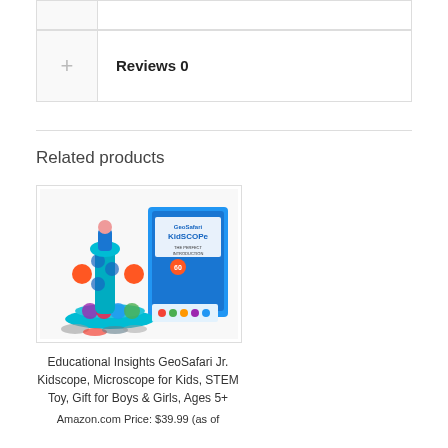|  | Reviews 0 |
Related products
[Figure (photo): Educational Insights GeoSafari Jr. Kidscope microscope toy product photo with box]
Educational Insights GeoSafari Jr. Kidscope, Microscope for Kids, STEM Toy, Gift for Boys & Girls, Ages 5+
Amazon.com Price: $39.99 (as of